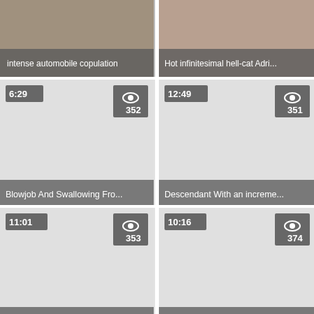[Figure (screenshot): Video thumbnail: intense automobile copulation, photo with title overlay]
[Figure (screenshot): Video thumbnail: Hot infinitesimal hell-cat Adri..., photo with title overlay]
[Figure (screenshot): Video thumbnail: Blowjob And Swallowing Fro..., duration 6:29, views 352]
[Figure (screenshot): Video thumbnail: Descendant With an increme..., duration 12:49, views 351]
[Figure (screenshot): Video thumbnail: beautiful streets whore lickin..., duration 11:01, views 353]
[Figure (screenshot): Video thumbnail: milf increased by teen los..., duration 10:16, views 374]
[Figure (screenshot): Video thumbnail row: duration 7:50, partial]
[Figure (screenshot): Video thumbnail row: duration 7:30, partial]